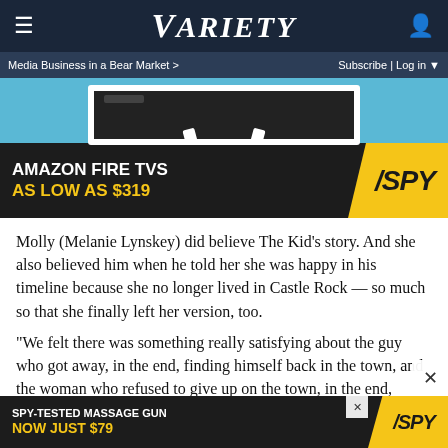Variety
Media Business in a Bear Market >   Subscribe | Log in
[Figure (photo): Advertisement banner: Amazon Fire TVs as low as $319, with SPY logo on yellow background]
Molly (Melanie Lynskey) did believe The Kid’s story. And she also believed him when he told her she was happy in his timeline because she no longer lived in Castle Rock — so much so that she finally left her version, too.
“We felt there was something really satisfying about the guy who got away, in the end, finding himself back in the town, and the woman who refused to give up on the town, in the end, realizing that maybe it’s something that can’t be saved
[Figure (photo): Advertisement banner: SPY-Tested Massage Gun Now Just $79, with SPY logo on yellow background]